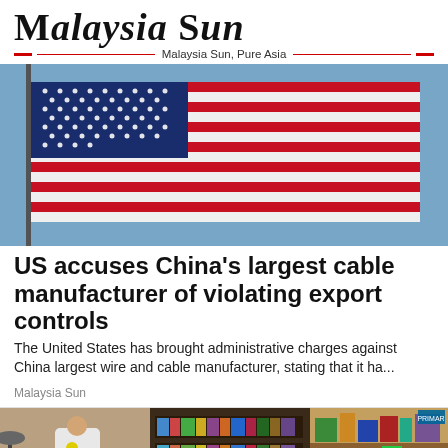[Figure (logo): Malaysia Sun logo with title and tagline 'Malaysia Sun, Pure Asia']
[Figure (photo): American flag waving against a blue sky background]
US accuses China's largest cable manufacturer of violating export controls
The United States has brought administrative charges against China largest wire and cable manufacturer, stating that it ha...
Malaysia Sun
[Figure (photo): Collage of indoor room scenes including a doctor in a coat, bookshelves, and cluttered shelving]